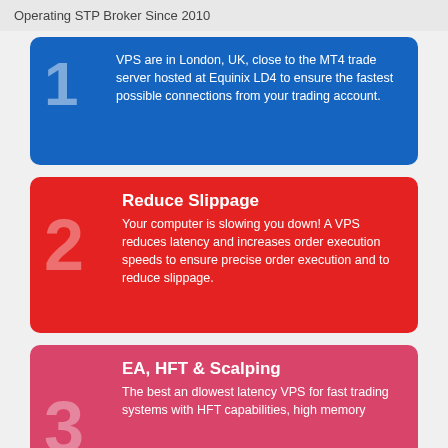Operating STP Broker Since 2010
1 VPS are in London, UK, close to the MT4 trade server hosted at Equinix LD4 to ensure the fastest possible connections from your trading account.
Reduce Slippage
2 Your computer is slowing you down! A VPS reduces latency and increases order execution speeds to ensure precise order execution and to reduce slippage.
EA, HFT & Scalping
3 The best an dlowest latency VPS for fast trading systems with HFT capabilities, high memory